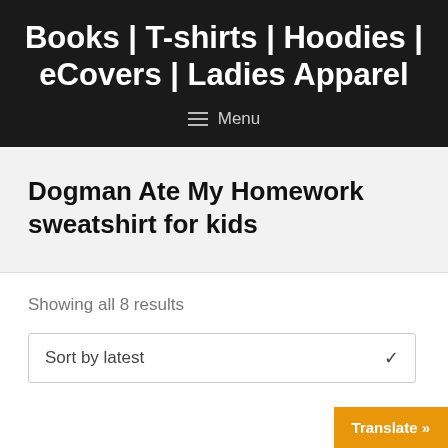Books | T-shirts | Hoodies | eCovers | Ladies Apparel
Dogman Ate My Homework sweatshirt for kids
Showing all 8 results
Sort by latest